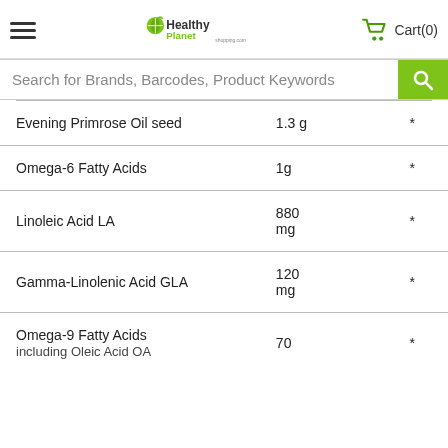HealthyPlanet Shopping.com — Cart(0)
Search for Brands, Barcodes, Product Keywords
| Nutrient | Amount | %DV |
| --- | --- | --- |
| Evening Primrose Oil seed | 1.3 g | * |
| Omega-6 Fatty Acids | 1g | * |
| Linoleic Acid LA | 880 mg | * |
| Gamma-Linolenic Acid GLA | 120 mg | * |
| Omega-9 Fatty Acids | 70 | * |